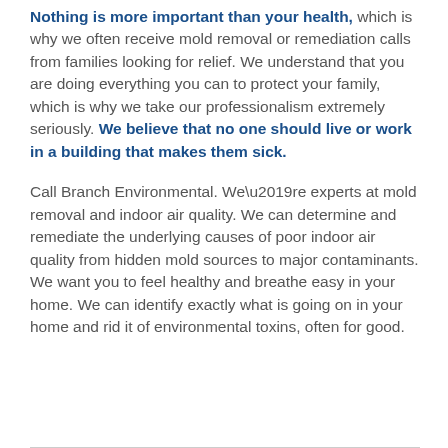Nothing is more important than your health, which is why we often receive mold removal or remediation calls from families looking for relief. We understand that you are doing everything you can to protect your family, which is why we take our professionalism extremely seriously. We believe that no one should live or work in a building that makes them sick.
Call Branch Environmental. We’re experts at mold removal and indoor air quality. We can determine and remediate the underlying causes of poor indoor air quality from hidden mold sources to major contaminants. We want you to feel healthy and breathe easy in your home. We can identify exactly what is going on in your home and rid it of environmental toxins, often for good.